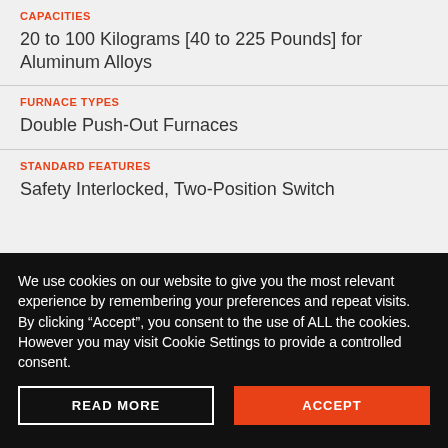CAPACITIES
20 to 100 Kilograms [40 to 225 Pounds] for Aluminum Alloys
FURNACE TYPES
Double Push-Out Furnaces
STANDARD FEATURES
Safety Interlocked, Two-Position Switch
We use cookies on our website to give you the most relevant experience by remembering your preferences and repeat visits. By clicking “Accept”, you consent to the use of ALL the cookies. However you may visit Cookie Settings to provide a controlled consent.